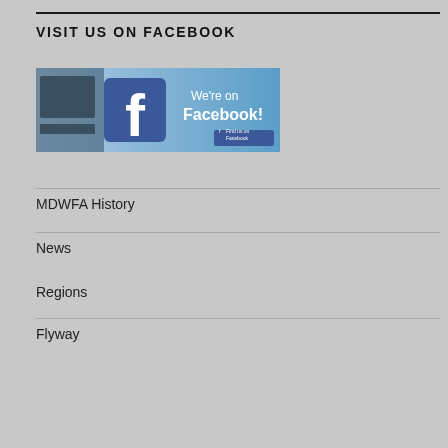VISIT US ON FACEBOOK
[Figure (illustration): Facebook promotional banner image reading 'We're on Facebook!' with Facebook logo and a small 'Find us on Facebook' badge]
MDWFA History
News
Regions
Flyway